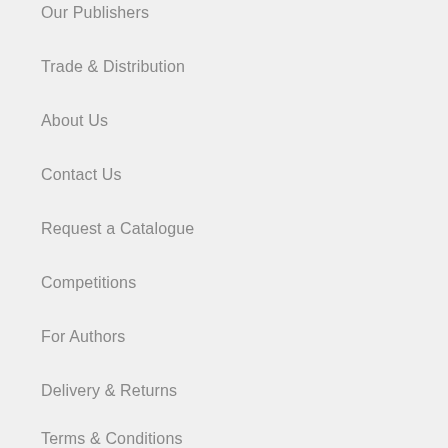Our Publishers
Trade & Distribution
About Us
Contact Us
Request a Catalogue
Competitions
For Authors
Delivery & Returns
Terms & Conditions